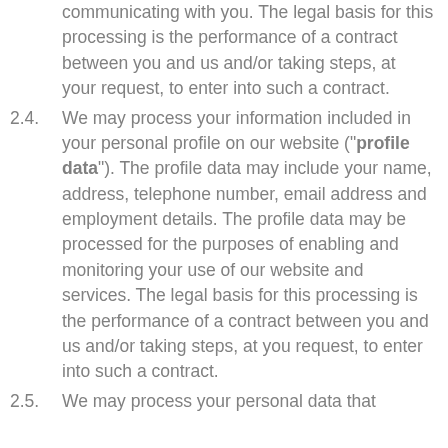communicating with you. The legal basis for this processing is the performance of a contract between you and us and/or taking steps, at your request, to enter into such a contract.
2.4. We may process your information included in your personal profile on our website ("profile data"). The profile data may include your name, address, telephone number, email address and employment details. The profile data may be processed for the purposes of enabling and monitoring your use of our website and services. The legal basis for this processing is the performance of a contract between you and us and/or taking steps, at you request, to enter into such a contract.
2.5. We may process your personal data that